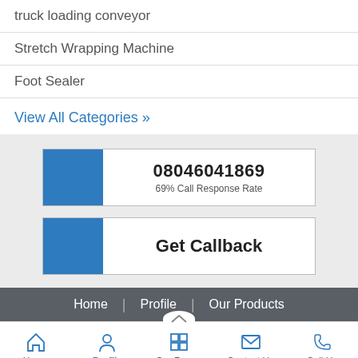truck loading conveyor
Stretch Wrapping Machine
Foot Sealer
View All Categories »
08046041869
69% Call Response Rate
Get Callback
Home | Profile | Our Products
Home  Profile  Our Range  Contact Us  Call Us